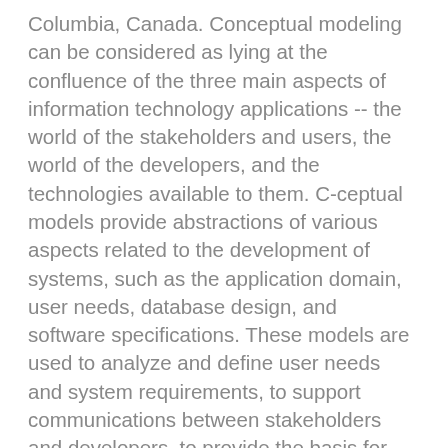Columbia, Canada. Conceptual modeling can be considered as lying at the confluence of the three main aspects of information technology applications -- the world of the stakeholders and users, the world of the developers, and the technologies available to them. C-ceptual models provide abstractions of various aspects related to the development of systems, such as the application domain, user needs, database design, and software specifications. These models are used to analyze and define user needs and system requirements, to support communications between stakeholders and developers, to provide the basis for systems design, and to document the requirements for and the design rationale of developed systems. Because of their role at the junction of usage, development, and technology, c- eptual models can be very important to the successful development and deployment of IT applications. Therefore, the research and development of methods, techniques, tools and languages that can be used in the process of creating, maintaining, and using